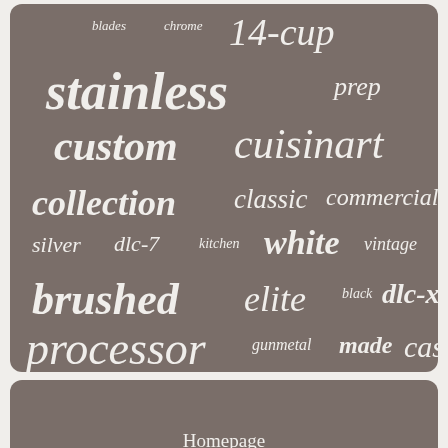[Figure (infographic): Tag cloud on dark brownish-grey rounded rectangle background. Words in varying sizes and weights: blades, chrome, 14-cup, stainless, prep, custom, cuisinart, collection, classic, commercial, silver, dlc-7, kitchen, white, vintage, brushed, elite, black, dlc-x, processor, gunmetal, made, cast]
Homepage
Contact Us
Privacy Policies
Service Agreement